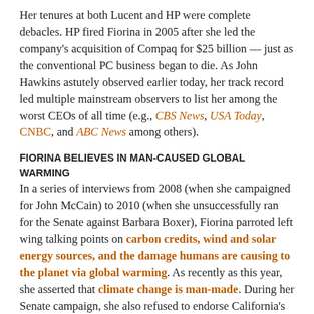Her tenures at both Lucent and HP were complete debacles. HP fired Fiorina in 2005 after she led the company's acquisition of Compaq for $25 billion — just as the conventional PC business began to die. As John Hawkins astutely observed earlier today, her track record led multiple mainstream observers to list her among the worst CEOs of all time (e.g., CBS News, USA Today, CNBC, and ABC News among others).
FIORINA BELIEVES IN MAN-CAUSED GLOBAL WARMING
In a series of interviews from 2008 (when she campaigned for John McCain) to 2010 (when she unsuccessfully ran for the Senate against Barbara Boxer), Fiorina parroted left wing talking points on carbon credits, wind and solar energy sources, and the damage humans are causing to the planet via global warming. As recently as this year, she asserted that climate change is man-made. During her Senate campaign, she also refused to endorse California's Proposition 23, which would have suspended the economy-destroying AB32 global warming law.
FIORINA IS AN ADMIRER OF THE GENOCIDAL OTTOMAN EMPIRE